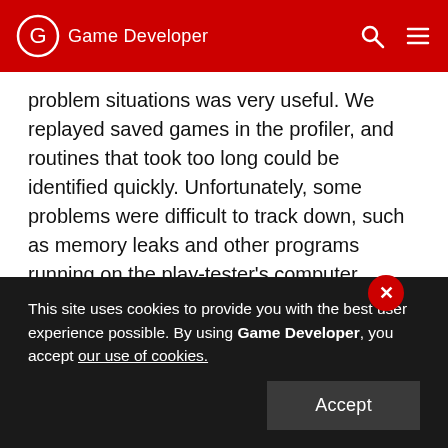Game Developer
problem situations was very useful. We replayed saved games in the profiler, and routines that took too long could be identified quickly. Unfortunately, some problems were difficult to track down, such as memory leaks and other programs running on the play-tester's computer.
We also created scenarios that stressed specific situations. For instance, we stressed the terrain engine's hill-drawing by using a special scenario consisting of a large game map covered mostly with hills. Other special scenarios were created that
This site uses cookies to provide you with the best user experience possible. By using Game Developer, you accept our use of cookies.